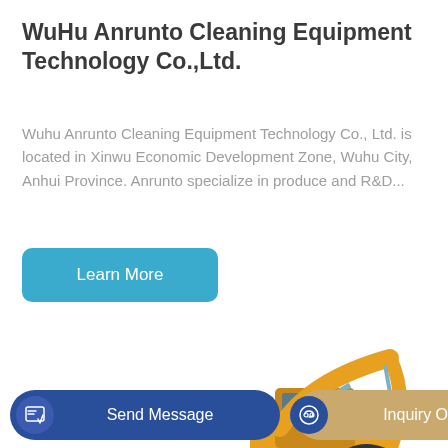WuHu Anrunto Cleaning Equipment Technology Co.,Ltd.
Wuhu Anrunto Cleaning Equipment Technology Co., Ltd. is located in Xinwu Economic Development Zone, Wuhu City, Anhui Province. Anrunto specialize in produce and R&D...
[Figure (other): A teal/blue rounded rectangle button labeled 'Learn More']
[Figure (photo): Yellow mini excavator (XCMG brand) with black bucket attachment on white background, partially cropped at bottom]
[Figure (other): Dark blue rounded pill button with document icon and text 'Send Message']
[Figure (other): Tan/gold rounded pill button with blue circle headset icon and text 'Inquiry Online']